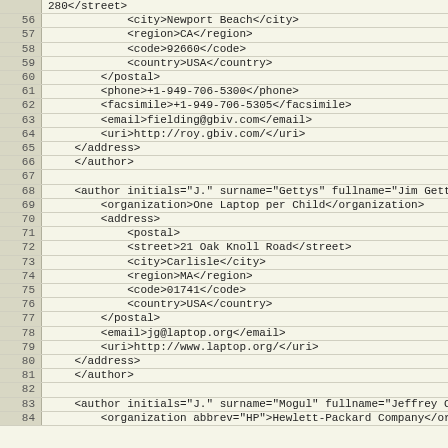Code listing lines 56-84 showing XML author/address data
56: <city>Newport Beach</city>
57: <region>CA</region>
58: <code>92660</code>
59: <country>USA</country>
60:     </postal>
61:     <phone>+1-949-706-5300</phone>
62:     <facsimile>+1-949-706-5305</facsimile>
63:     <email>fielding@gbiv.com</email>
64:     <uri>http://roy.gbiv.com/</uri>
65:   </address>
66: </author>
67:
68: <author initials="J." surname="Gettys" fullname="Jim Gettys">
69:     <organization>One Laptop per Child</organization>
70:     <address>
71:         <postal>
72:             <street>21 Oak Knoll Road</street>
73:             <city>Carlisle</city>
74:             <region>MA</region>
75:             <code>01741</code>
76:             <country>USA</country>
77:         </postal>
78:         <email>jg@laptop.org</email>
79:         <uri>http://www.laptop.org/</uri>
80:     </address>
81: </author>
82:
83: <author initials="J." surname="Mogul" fullname="Jeffrey C. Mogul">
84:     <organization abbrev="HP">Hewlett-Packard Company</organization>